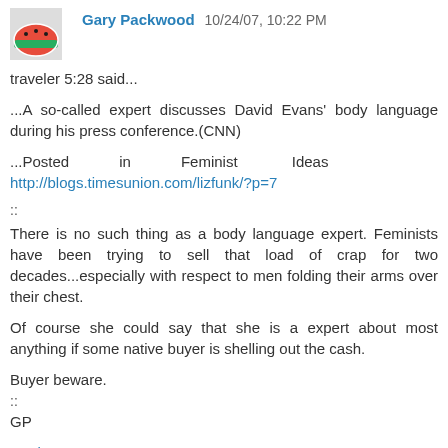Gary Packwood  10/24/07, 10:22 PM
traveler 5:28 said...
...A so-called expert discusses David Evans' body language during his press conference.(CNN)
...Posted in Feminist Ideas http://blogs.timesunion.com/lizfunk/?p=7
::
There is no such thing as a body language expert. Feminists have been trying to sell that load of crap for two decades...especially with respect to men folding their arms over their chest.
Of course she could say that she is a expert about most anything if some native buyer is shelling out the cash.
Buyer beware.
::
GP
Reply